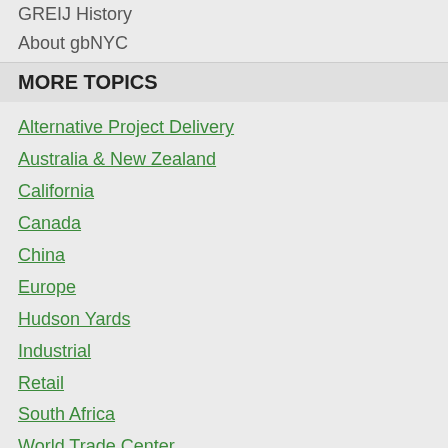GREIJ History
About gbNYC
MORE TOPICS
Alternative Project Delivery
Australia & New Zealand
California
Canada
China
Europe
Hudson Yards
Industrial
Retail
South Africa
World Trade Center
QUICK LINKS
Timeline of Articles
Sitemap
Become a Subscriber
Submit an Article or Tip